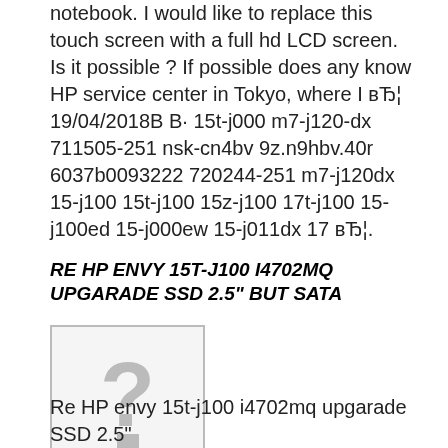notebook. I would like to replace this touch screen with a full hd LCD screen. Is it possible ? If possible does any know HP service center in Tokyo, where I вЂ¦ 19/04/2018В В· 15t-j000 m7-j120-dx 711505-251 nsk-cn4bv 9z.n9hbv.40r 6037b0093222 720244-251 m7-j120dx 15-j100 15t-j100 15z-j100 17t-j100 15-j100ed 15-j000ew 15-j011dx 17 вЂ¦.
RE HP ENVY 15T-J100 I4702MQ UPGARADE SSD 2.5" BUT SATA
[Figure (other): Placeholder image with a large grey question mark and a small grey square below it, bordered by a light grey rectangle.]
Re HP envy 15t-j100 i4702mq upgarade SSD 2.5"